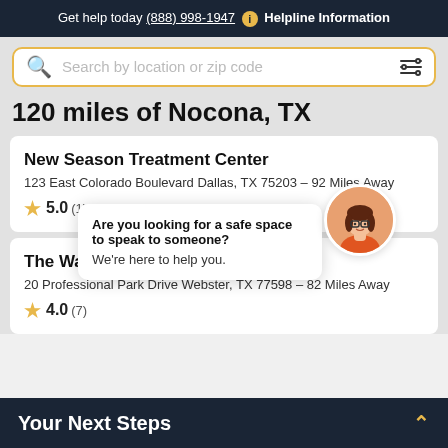Get help today (888) 998-1947 i Helpline Information
[Figure (screenshot): Search bar with gold border, search icon, placeholder text 'Search by location or zip code', and filter icon on right]
120 miles of Nocona, TX
New Season Treatment Center
123 East Colorado Boulevard Dallas, TX 75203 – 92 Miles Away
★ 5.0 (1)
[Figure (illustration): Chat popup with avatar: 'Are you looking for a safe space to speak to someone? We're here to help you.' with close X button and cartoon female avatar]
The Water... grams, Inc.
20 Professional Park Drive Webster, TX 77598 – 82 Miles Away
★ 4.0 (7)
Your Next Steps ^